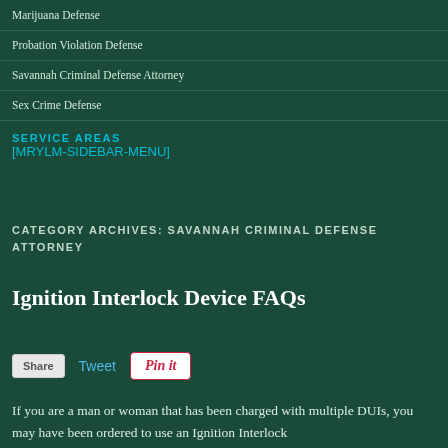Marijuana Defense
Probation Violation Defense
Savannah Criminal Defense Attorney
Sex Crime Defense
SERVICE AREAS
[MRYLM-SIDEBAR-MENU]
CATEGORY ARCHIVES: SAVANNAH CRIMINAL DEFENSE ATTORNEY
Ignition Interlock Device FAQs
Share  Tweet  Pin it
If you are a man or woman that has been charged with multiple DUIs, you may have been ordered to use an Ignition Interlock